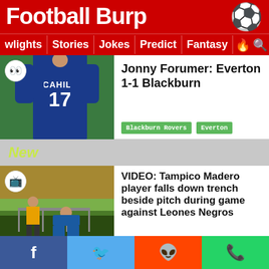Football Burp
wlights | Stories | Jokes | Predict | Fantasy
[Figure (photo): Football player wearing Cahill 17 blue jersey, seen from behind on pitch]
Jonny Forumer: Everton 1-1 Blackburn
Blackburn Rovers  Everton
New
[Figure (photo): Video still of Tampico Madero player falling down trench beside pitch during game against Leones Negros]
VIDEO: Tampico Madero player falls down trench beside pitch during game against Leones Negros
Tampico Madero